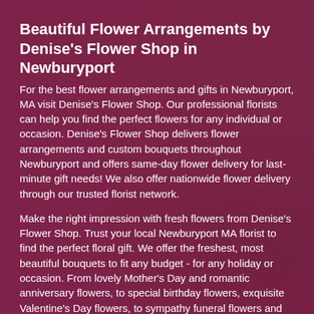Beautiful Flower Arrangements by Denise's Flower Shop in Newburyport
For the best flower arrangements and gifts in Newburyport, MA visit Denise's Flower Shop. Our professional florists can help you find the perfect flowers for any individual or occasion. Denise's Flower Shop delivers flower arrangements and custom bouquets throughout Newburyport and offers same-day flower delivery for last-minute gift needs! We also offer nationwide flower delivery through our trusted florist network.
Make the right impression with fresh flowers from Denise's Flower Shop. Trust your local Newburyport MA florist to find the perfect floral gift. We offer the freshest, most beautiful bouquets to fit any budget - for any holiday or occasion. From lovely Mother's Day and romantic anniversary flowers, to special birthday flowers, exquisite Valentine's Day flowers, to sympathy funeral flowers and thoughtful get well flowers, Denise's Flower Shop offers the best arrangements and gifts for the ones you love.
Whether you're looking for local flower delivery in Newburyport or easy nationwide delivery, you can trust Denise's Flower Shop. Our professional florists fulfill